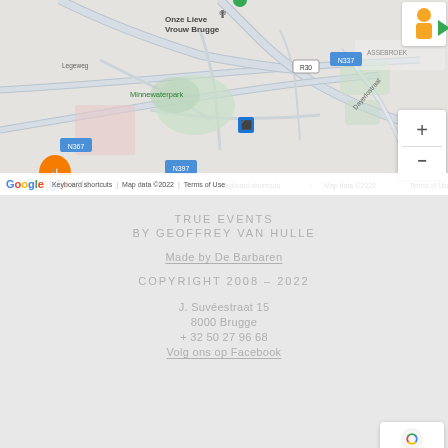[Figure (map): Google Maps screenshot showing Brugge area with landmarks including Onze Lieve Vrouw Brugge, Minnewaterpark, N367, N337, N397, R30, Dayerlostraat, ASSEBROEK label, zoom controls (+/-), street view icon, Google logo, and map attribution text: Keyboard shortcuts | Map data ©2022 | Terms of Use]
TRUE EVENTS
BY GEOFFREY VAN HULLE
Made by De Barbaren
COPYRIGHT 2008 – 2022
J. Suvéestraat 15
8000 Brugge
+ 32 50 27 96 68
Volg ons op Facebook